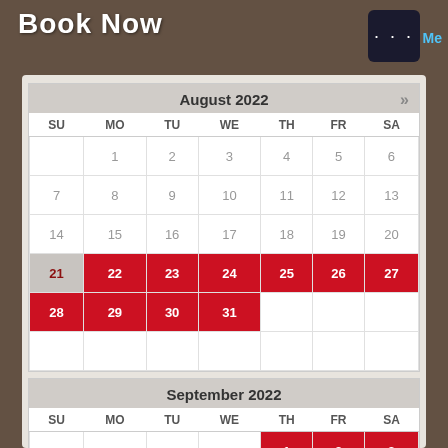Book Now
[Figure (screenshot): Menu button with three dots (…) in dark background, top right corner]
| SU | MO | TU | WE | TH | FR | SA |
| --- | --- | --- | --- | --- | --- | --- |
|  | 1 | 2 | 3 | 4 | 5 | 6 |
| 7 | 8 | 9 | 10 | 11 | 12 | 13 |
| 14 | 15 | 16 | 17 | 18 | 19 | 20 |
| 21 | 22 | 23 | 24 | 25 | 26 | 27 |
| 28 | 29 | 30 | 31 |  |  |  |
| SU | MO | TU | WE | TH | FR | SA |
| --- | --- | --- | --- | --- | --- | --- |
|  |  |  |  | 1 | 2 | 3 |